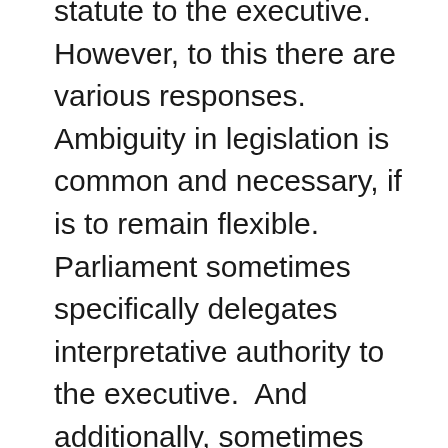statute to the executive.  However, to this there are various responses. Ambiguity in legislation is common and necessary, if is to remain flexible. Parliament sometimes specifically delegates interpretative authority to the executive.  And additionally, sometimes phrases in the statute will need to evolve in meaning to deal with new phenomena.  The suggestion is not to move in the direction of Chevron and adopt a presumptively deferential starting position or to rely exclusively on reasonableness as an approach to assessing executive interpretations of